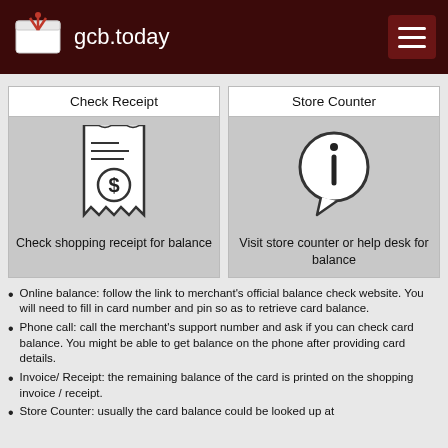gcb.today
[Figure (illustration): Check Receipt icon showing a receipt with dollar sign]
Check Receipt
Check shopping receipt for balance
[Figure (illustration): Store Counter icon showing an info speech bubble]
Store Counter
Visit store counter or help desk for balance
Online balance: follow the link to merchant's official balance check website. You will need to fill in card number and pin so as to retrieve card balance.
Phone call: call the merchant's support number and ask if you can check card balance. You might be able to get balance on the phone after providing card details.
Invoice/ Receipt: the remaining balance of the card is printed on the shopping invoice / receipt.
Store Counter: usually the card balance could be looked up at